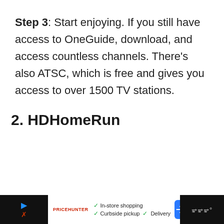Step 3: Start enjoying. If you still have access to OneGuide, download, and access countless channels. There's also ATSC, which is free and gives you access to over 1500 TV stations.
2. HDHomeRun